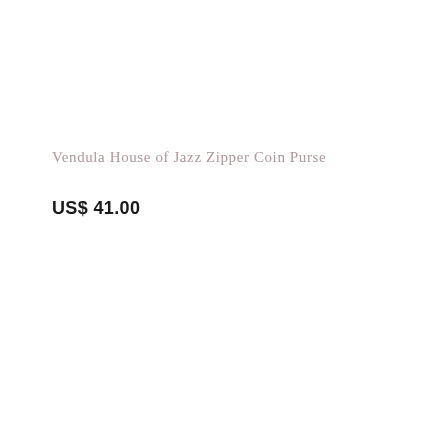Vendula House of Jazz Zipper Coin Purse
US$ 41.00